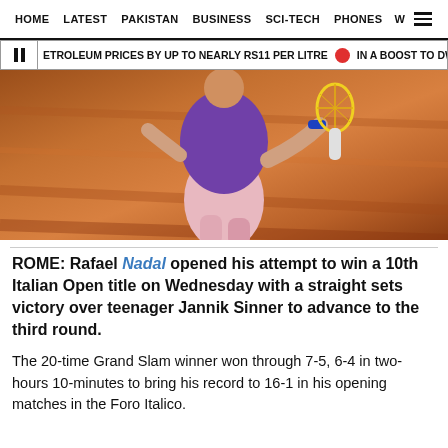HOME  LATEST  PAKISTAN  BUSINESS  SCI-TECH  PHONES  W  ☰
ETROLEUM PRICES BY UP TO NEARLY RS11 PER LITRE   IN A BOOST TO DWINDLIN
[Figure (photo): Tennis player Rafael Nadal in purple shirt and pink shorts playing on a clay court, captured mid-swing with a racket]
ROME: Rafael Nadal opened his attempt to win a 10th Italian Open title on Wednesday with a straight sets victory over teenager Jannik Sinner to advance to the third round.
The 20-time Grand Slam winner won through 7-5, 6-4 in two-hours 10-minutes to bring his record to 16-1 in his opening matches in the Foro Italico.